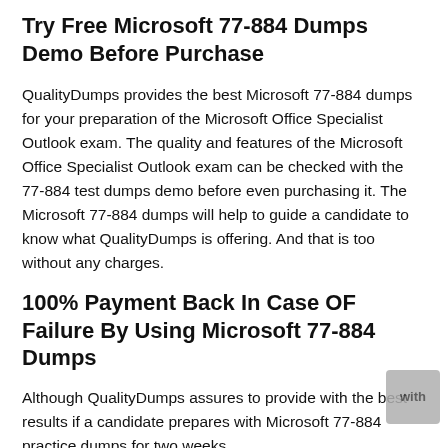Try Free Microsoft 77-884 Dumps Demo Before Purchase
QualityDumps provides the best Microsoft 77-884 dumps for your preparation of the Microsoft Office Specialist Outlook exam. The quality and features of the Microsoft Office Specialist Outlook exam can be checked with the 77-884 test dumps demo before even purchasing it. The Microsoft 77-884 dumps will help to guide a candidate to know what QualityDumps is offering. And that is too without any charges.
100% Payment Back In Case OF Failure By Using Microsoft 77-884 Dumps
Although QualityDumps assures to provide with the best results if a candidate prepares with Microsoft 77-884 practice dumps for two weeks